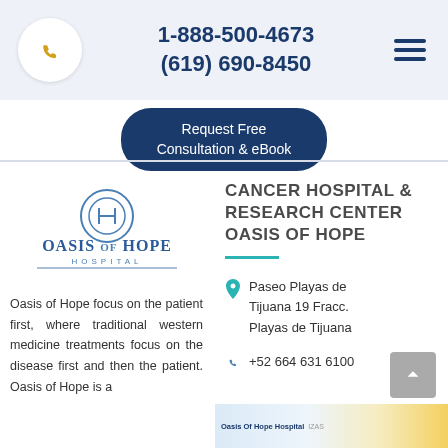1-888-500-4673 (619) 690-8450
Request Free Consultation & eBook
[Figure (logo): Oasis of Hope Hospital logo — circular 'OH' monogram above text OASIS OF HOPE HOSPITAL in blue]
CANCER HOSPITAL & RESEARCH CENTER OASIS OF HOPE
Paseo Playas de Tijuana 19 Fracc. Playas de Tijuana
+52 664 631 6100
Oasis of Hope focus on the patient first, where traditional western medicine treatments focus on the disease first and then the patient. Oasis of Hope is a